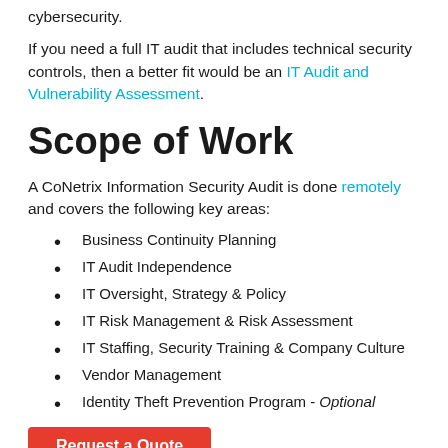cybersecurity.
If you need a full IT audit that includes technical security controls, then a better fit would be an IT Audit and Vulnerability Assessment.
Scope of Work
A CoNetrix Information Security Audit is done remotely and covers the following key areas:
Business Continuity Planning
IT Audit Independence
IT Oversight, Strategy & Policy
IT Risk Management & Risk Assessment
IT Staffing, Security Training & Company Culture
Vendor Management
Identity Theft Prevention Program - Optional
Request a Quote